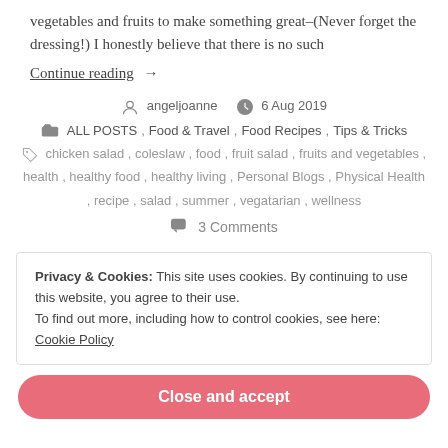vegetables and fruits to make something great–(Never forget the dressing!) I honestly believe that there is no such
Continue reading →
angeljoanne   6 Aug 2019
ALL POSTS, Food & Travel, Food Recipes, Tips & Tricks
chicken salad, coleslaw, food, fruit salad, fruits and vegetables, health, healthy food, healthy living, Personal Blogs, Physical Health, recipe, salad, summer, vegatarian, wellness
3 Comments
Privacy & Cookies: This site uses cookies. By continuing to use this website, you agree to their use. To find out more, including how to control cookies, see here: Cookie Policy
Close and accept